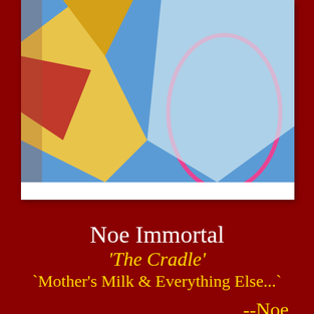[Figure (photo): Partial view of a colorful artwork or book cover photo in a polaroid-style frame with white border, showing yellow, red/pink, blue, and white colors with abstract shapes]
Noe Immortal
'The Cradle'
`Mother's Milk & Everything Else...`
--Noe
...
.